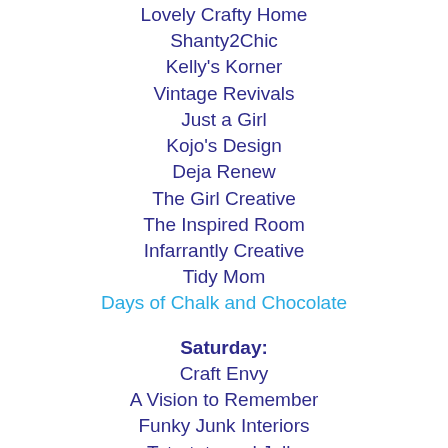Lovely Crafty Home
Shanty2Chic
Kelly's Korner
Vintage Revivals
Just a Girl
Kojo's Design
Deja Renew
The Girl Creative
The Inspired Room
Infarrantly Creative
Tidy Mom
Days of Chalk and Chocolate
Saturday:
Craft Envy
A Vision to Remember
Funky Junk Interiors
Tatertots and Jello
Be Different Act Normal
A Little Lovely
Along for the Ride
Perfectly Imperfect